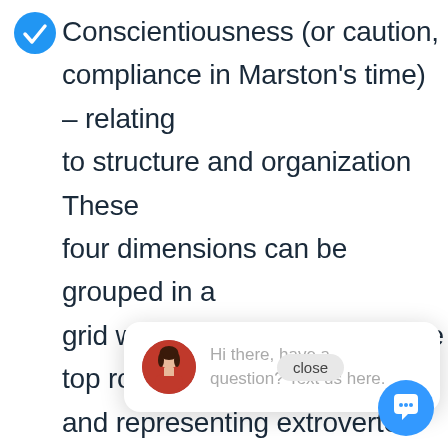Conscientiousness (or caution, compliance in Marston’s time) – relating to structure and organization These four dimensions can be grouped in a grid with “D” and “I” sharing the top row and representing extroverted aspects of the personality, and “C” and “S” below re aspects. column a aspects, and “I” and “S” share the r column and represent social aspe this...
[Figure (screenshot): Chat widget overlay with avatar photo of a woman, text 'Hi there, have a question? Text us here.' and a close button. A blue circular chat bubble icon is visible in the bottom right.]